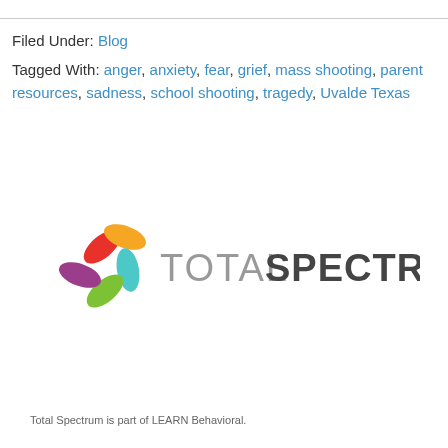Filed Under: Blog
Tagged With: anger, anxiety, fear, grief, mass shooting, parent resources, sadness, school shooting, tragedy, Uvalde Texas
[Figure (logo): Total Spectrum logo with colorful flower/pinwheel and text TOTAL SPECTRUM]
Total Spectrum is part of LEARN Behavioral.